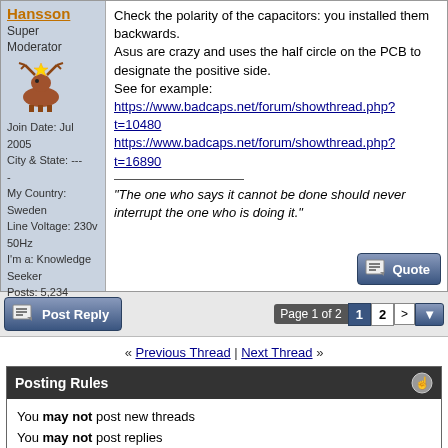Hansson
Super Moderator
[Figure (illustration): Cartoon moose avatar]
Join Date: Jul 2005
City & State: ---
-
My Country: Sweden
Line Voltage: 230v 50Hz
I'm a: Knowledge Seeker
Posts: 5,234
Check the polarity of the capacitors: you installed them backwards.
Asus are crazy and uses the half circle on the PCB to designate the positive side.
See for example:
https://www.badcaps.net/forum/showthread.php?t=10480
https://www.badcaps.net/forum/showthread.php?t=16890

"The one who says it cannot be done should never interrupt the one who is doing it."
Post Reply
Page 1 of 2  1  2  >
« Previous Thread | Next Thread »
Posting Rules
You may not post new threads
You may not post replies
You may not post attachments
You may not edit your posts
BB code is On